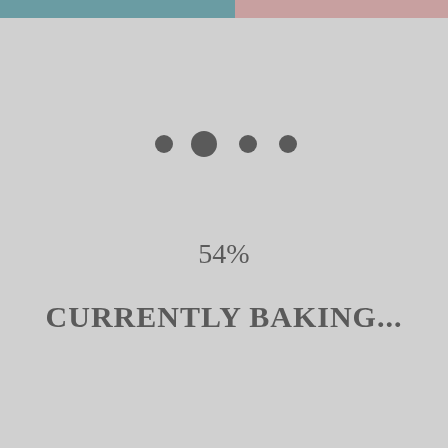[Figure (infographic): Loading/progress indicator with four dots (three small, one larger in the second position), showing a loading animation. A teal bar and pink bar appear at the top of the page.]
54%
CURRENTLY BAKING...